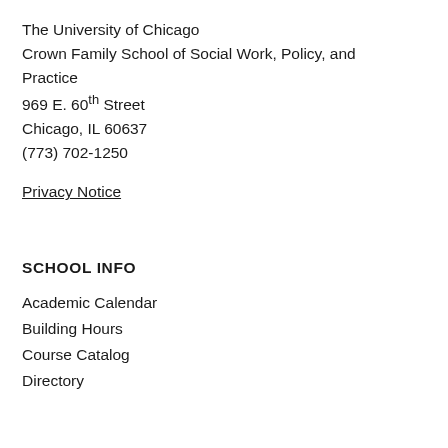The University of Chicago
Crown Family School of Social Work, Policy, and Practice
969 E. 60th Street
Chicago, IL 60637
(773) 702-1250
Privacy Notice
SCHOOL INFO
Academic Calendar
Building Hours
Course Catalog
Directory